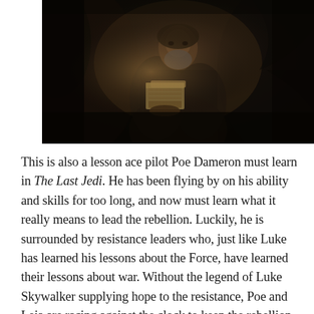[Figure (photo): A bearded older man in dark robes holding ancient books in a dimly lit, dark environment with twisted wood or roots in background — appears to be Luke Skywalker from Star Wars: The Last Jedi.]
This is also a lesson ace pilot Poe Dameron must learn in The Last Jedi. He has been flying by on his ability and skills for too long, and now must learn what it really means to lead the rebellion. Luckily, he is surrounded by resistance leaders who, just like Luke has learned his lessons about the Force, have learned their lessons about war. Without the legend of Luke Skywalker supplying hope to the resistance, Poe and Leia are racing against the clock to keep the rebellion alive. What is perhaps most heartbreaking about The Last Jedi is that,